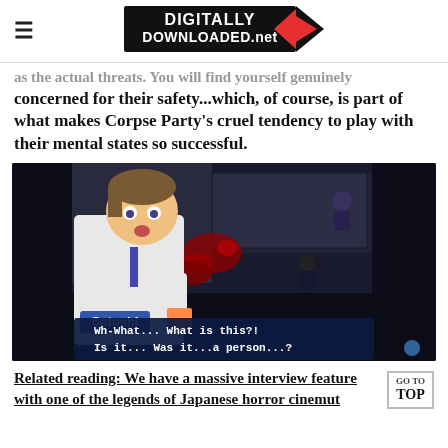DIGITALLY DOWNLOADED.net
as the actual threats. You will find yourself genuinely concerned for their safety...which, of course, is part of what makes Corpse Party's cruel tendency to play with their mental states so successful.
[Figure (screenshot): Screenshot from Corpse Party video game showing an anime-style character named Satoshi with dialogue: 'Wh-What... What is this?! Is it... Was it...a person...?' overlaid on a top-down RPG game scene with blood and dark environment.]
Related reading: We have a massive interview feature with one of the legends of Japanese horror cinem[GO TO TOP]ut